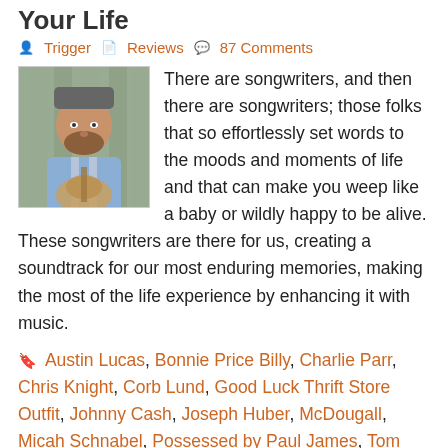Your Life
Trigger   Reviews   87 Comments
[Figure (photo): Portrait photo of a bearded man wearing a cap and suspenders, holding a guitar, standing outdoors]
There are songwriters, and then there are songwriters; those folks that so effortlessly set words to the moods and moments of life and that can make you weep like a baby or wildly happy to be alive. These songwriters are there for us, creating a soundtrack for our most enduring memories, making the most of the life experience by enhancing it with music.
Austin Lucas, Bonnie Price Billy, Charlie Parr, Chris Knight, Corb Lund, Good Luck Thrift Store Outfit, Johnny Cash, Joseph Huber, McDougall, Micah Schnabel, Possessed by Paul James, Tom VandenAvond, Two Cow Garage, Will Oldham